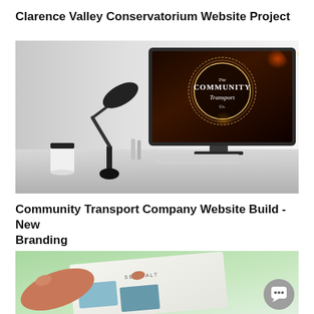Clarence Valley Conservatorium Website Project
[Figure (photo): Desktop computer monitor on a desk showing The Community Transport Co logo on screen, with a desk lamp, coffee cup, and keyboard in the foreground. Dark, atmospheric background.]
Community Transport Company Website Build - New Branding
[Figure (photo): A hand pointing at a tablet/magazine showing 'SEA SALT' text and product images, with a blurred background.]